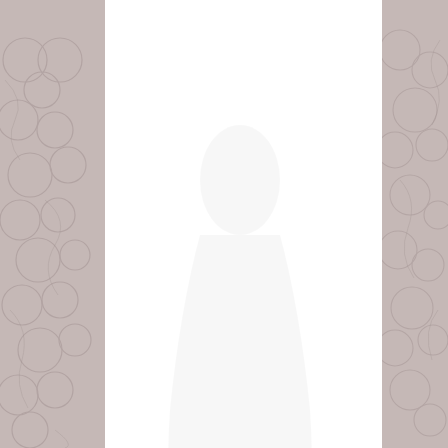[Figure (photo): Background lace/floral texture in muted pink-grey tones with white card overlay showing brand name]
Allure Couture
[Figure (illustration): Scroll-to-top chevron button (dark grey square button with upward arrow)]
[Figure (illustration): Chat button (round peach/salmon colored button with message icon)]